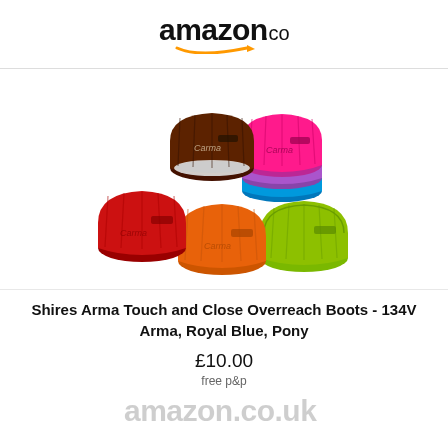amazon.co.uk
[Figure (photo): Six colorful Shires Arma overreach/bell boots in red, brown, orange, pink/hot pink, blue/purple, and lime green, arranged in a group on a white background. Each boot has rubbery ribbed construction with a velcro/touch-and-close fastening and the 'Carma' branding.]
Shires Arma Touch and Close Overreach Boots - 134V Arma, Royal Blue, Pony
£10.00
free p&p
amazon.co.uk